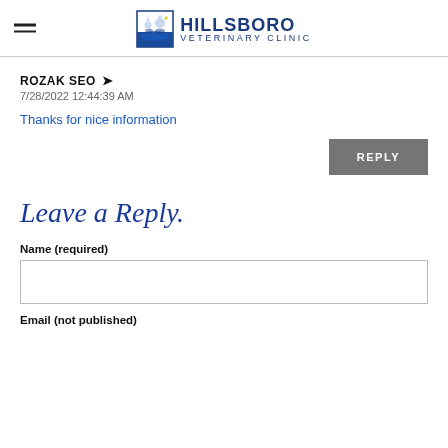Hillsboro Veterinary Clinic
ROZAK SEO
7/28/2022 12:44:39 AM
Thanks for nice information
REPLY
Leave a Reply.
Name (required)
Email (not published)